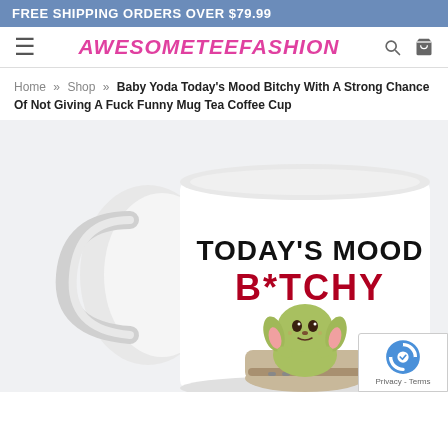FREE SHIPPING ORDERS OVER $79.99
[Figure (logo): AWESOMETEEFASHION logo with hamburger menu, search icon, and cart icon]
Home » Shop » Baby Yoda Today's Mood Bitchy With A Strong Chance Of Not Giving A Fuck Funny Mug Tea Coffee Cup
[Figure (photo): White ceramic mug with 'TODAY'S MOOD B*TCHY' text and Baby Yoda cartoon illustration]